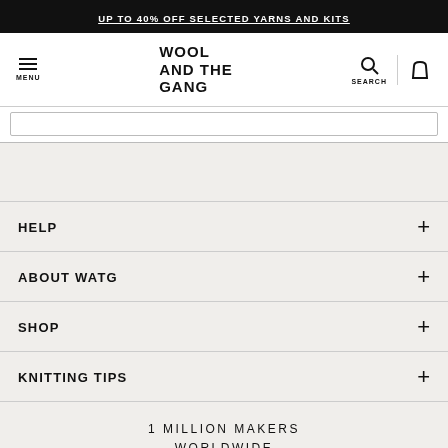UP TO 40% OFF SELECTED YARNS AND KITS
[Figure (logo): Wool and the Gang logo with hamburger menu, search icon, and bag icon navigation]
HELP
ABOUT WATG
SHOP
KNITTING TIPS
1 MILLION MAKERS WORLDWIDE
[Figure (infographic): Social media icons: Pinterest, Facebook, Instagram, YouTube, TikTok]